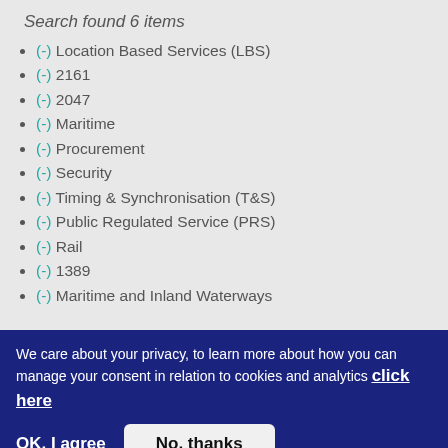Search found 6 items
(-) Location Based Services (LBS)
(-) 2161
(-) 2047
(-) Maritime
(-) Procurement
(-) Security
(-) Timing & Synchronisation (T&S)
(-) Public Regulated Service (PRS)
(-) Rail
(-) 1389
(-) Maritime and Inland Waterways
We care about your privacy, to learn more about how you can manage your consent in relation to cookies and analytics click here
OK, I agree  No, thanks